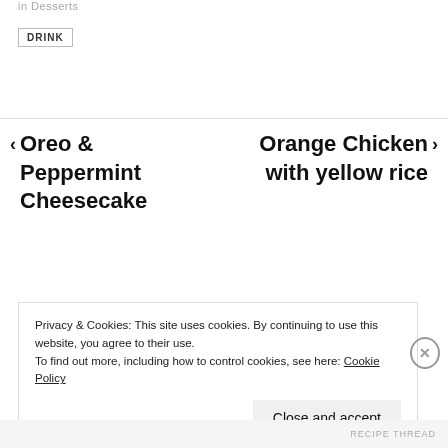in Desserts
DRINK
< Oreo & Peppermint Cheesecake
Orange Chicken with yellow rice >
Privacy & Cookies: This site uses cookies. By continuing to use this website, you agree to their use.
To find out more, including how to control cookies, see here: Cookie Policy
Close and accept
RECIPE THREAD